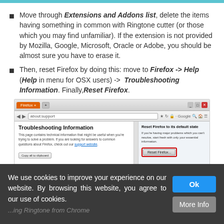Move through Extensions and Addons list, delete the items having something in common with Ringtone cutter (or those which you may find unfamiliar). If the extension is not provided by Mozilla, Google, Microsoft, Oracle or Adobe, you should be almost sure you have to erase it.
Then, reset Firefox by doing this: move to Firefox ->Help (Help in menu for OSX users) -> Troubleshooting Information. Finally, Reset Firefox.
[Figure (screenshot): Screenshot of Firefox browser showing the Troubleshooting Information page with a 'Reset Firefox to its default state' dialog panel on the right, containing a highlighted Reset Firefox button.]
We use cookies to improve your experience on our website. By browsing this website, you agree to our use of cookies.